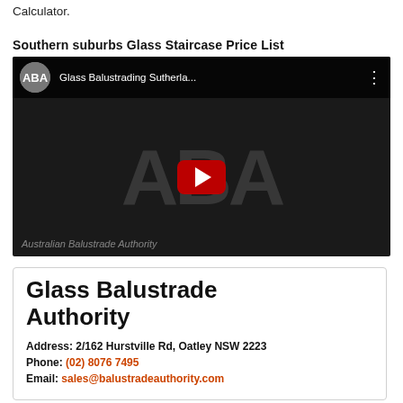To get a cost on glass balustrade use our Online Calculator.
Southern suburbs Glass Staircase Price List
[Figure (screenshot): YouTube video thumbnail for 'Glass Balustrading Sutherla...' by Australian Balustrade Authority (ABA), showing ABA logo, video title bar, large ABA watermark letters, red YouTube play button, and bottom text 'Australian Balustrade Authority']
Glass Balustrade Authority
Address: 2/162 Hurstville Rd, Oatley NSW 2223
Phone: (02) 8076 7495
Email: sales@balustradeauthority.com